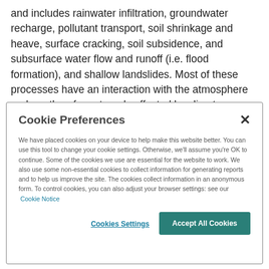and includes rainwater infiltration, groundwater recharge, pollutant transport, soil shrinkage and heave, surface cracking, soil subsidence, and subsurface water flow and runoff (i.e. flood formation), and shallow landslides. Most of these processes have an interaction with the atmosphere and are therefore strongly affected by climate changes.
Cookie Preferences
We have placed cookies on your device to help make this website better. You can use this tool to change your cookie settings. Otherwise, we'll assume you're OK to continue. Some of the cookies we use are essential for the website to work. We also use some non-essential cookies to collect information for generating reports and to help us improve the site. The cookies collect information in an anonymous form. To control cookies, you can also adjust your browser settings: see our Cookie Notice
Cookies Settings | Accept All Cookies